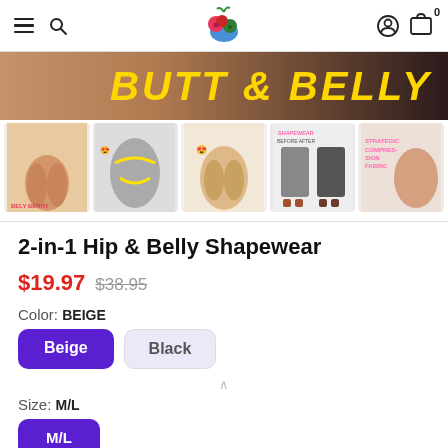Navigation bar with hamburger menu, search icon, logo (berry/fruit logo), account icon, cart icon with badge 0
[Figure (photo): Hero banner showing 'BUTT & BELLY' text in bold yellow italic letters on a warm brown/dark background]
[Figure (photo): Row of 5 product thumbnail images showing shapewear product from various angles and comparison views]
2-in-1 Hip & Belly Shapewear
$19.97 $38.95
Color: BEIGE
Beige  Black
Size: M/L